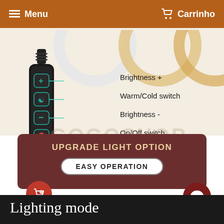Menu   Carrinho
[Figure (photo): Product infographic showing a ring light controller with labeled buttons: Brightness +, Warm/Cold switch, Brightness -, On/Off switch. Ring lights shown at top. Watermark 'GOGOSHOP' visible. Bottom section with dark brown background showing 'UPGRADE LIGHT OPTION' and 'EASY OPERATION' text.]
Brightness +
Warm/Cold switch
Brightness -
On/Off switch
UPGRADE LIGHT OPTION
EASY OPERATION
Lighting mode